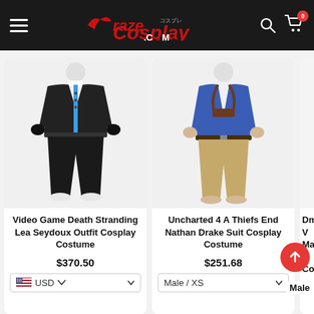[Figure (screenshot): Craze Cosplay website header with logo, hamburger menu, search icon, and cart icon showing 0 items]
[Figure (photo): Video Game Death Stranding Lea Seydoux Outfit Cosplay Costume - black leather jacket and pants on mannequin with blue accent]
Video Game Death Stranding Lea Seydoux Outfit Cosplay Costume
$370.50
USD
[Figure (photo): Uncharted 4 A Thiefs End Nathan Drake Suit Cosplay Costume - blue shirt, khaki pants, shoulder holster on mannequin]
Uncharted 4 A Thiefs End Nathan Drake Suit Cosplay Costume
$251.68
Male / XS
Dmc V May C Cospl
Male